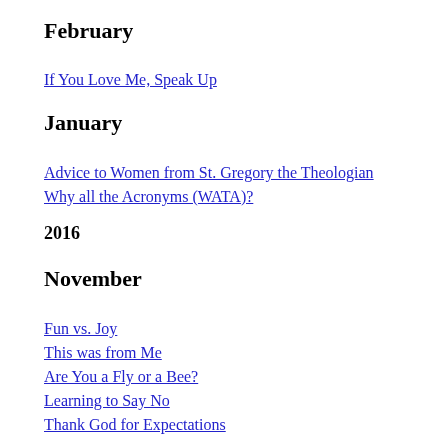February
If You Love Me, Speak Up
January
Advice to Women from St. Gregory the Theologian
Why all the Acronyms (WATA)?
2016
November
Fun vs. Joy
This was from Me
Are You a Fly or a Bee?
Learning to Say No
Thank God for Expectations